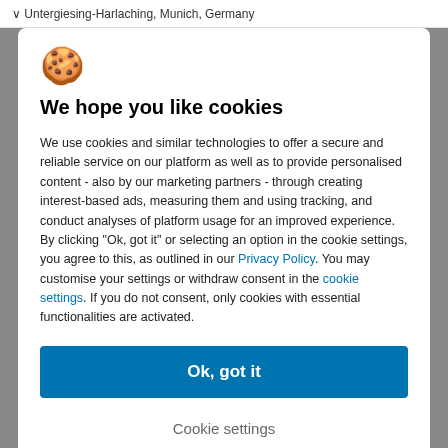Untergiesing-Harlaching, Munich, Germany
[Figure (illustration): Cookie emoji icon]
We hope you like cookies
We use cookies and similar technologies to offer a secure and reliable service on our platform as well as to provide personalised content - also by our marketing partners - through creating interest-based ads, measuring them and using tracking, and conduct analyses of platform usage for an improved experience. By clicking "Ok, got it" or selecting an option in the cookie settings, you agree to this, as outlined in our Privacy Policy. You may customise your settings or withdraw consent in the cookie settings. If you do not consent, only cookies with essential functionalities are activated.
Ok, got it
Cookie settings